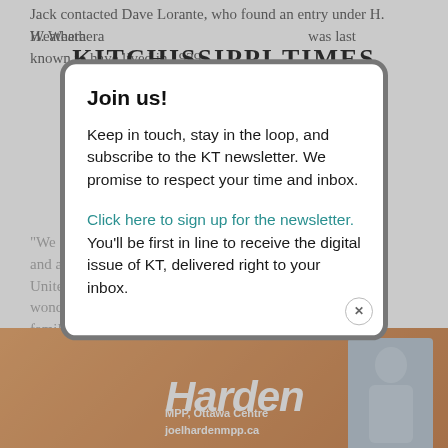Jack contacted Dave Lorante, who found an entry under H. Weathera... was last known to have lived in 1929.
[Figure (logo): Kitchissippi Times newspaper logo with tagline '100% Local from Kitchissippi Word in Ottawa, Ontario']
[Figure (infographic): Hamburger menu icon with three teal horizontal lines]
"We... had fo... ns and a... the Unite... fe wond... my family...
Join us!

Keep in touch, stay in the loop, and subscribe to the KT newsletter. We promise to respect your time and inbox.

Click here to sign up for the newsletter.
You'll be first in line to receive the digital issue of KT, delivered right to your inbox.
[Figure (illustration): Advertisement banner for Joel Harden, MPP Ottawa Centre, joelhardenmpp.ca, with orange background and photo]